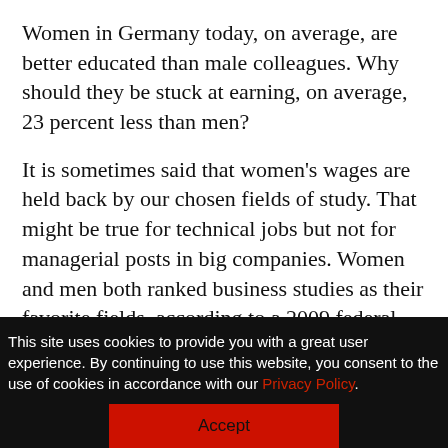Women in Germany today, on average, are better educated than male colleagues. Why should they be stuck at earning, on average, 23 percent less than men?
It is sometimes said that women's wages are held back by our chosen fields of study. That might be true for technical jobs but not for managerial posts in big companies. Women and men both ranked business studies as their favorite fields, according to a 2009 federal
This site uses cookies to provide you with a great user experience. By continuing to use this website, you consent to the use of cookies in accordance with our Privacy Policy.
Accept